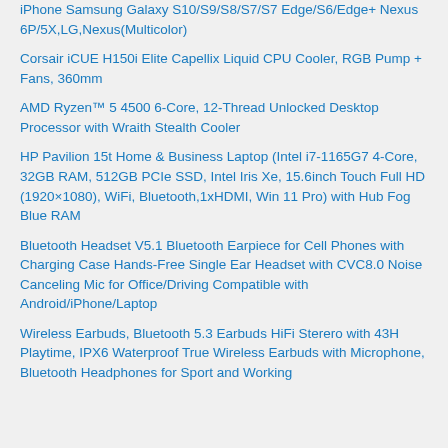iPhone Samsung Galaxy S10/S9/S8/S7/S7 Edge/S6/Edge+ Nexus 6P/5X,LG,Nexus(Multicolor)
Corsair iCUE H150i Elite Capellix Liquid CPU Cooler, RGB Pump + Fans, 360mm
AMD Ryzen™ 5 4500 6-Core, 12-Thread Unlocked Desktop Processor with Wraith Stealth Cooler
HP Pavilion 15t Home & Business Laptop (Intel i7-1165G7 4-Core, 32GB RAM, 512GB PCIe SSD, Intel Iris Xe, 15.6inch Touch Full HD (1920×1080), WiFi, Bluetooth,1xHDMI, Win 11 Pro) with Hub Fog Blue RAM
Bluetooth Headset V5.1 Bluetooth Earpiece for Cell Phones with Charging Case Hands-Free Single Ear Headset with CVC8.0 Noise Canceling Mic for Office/Driving Compatible with Android/iPhone/Laptop
Wireless Earbuds, Bluetooth 5.3 Earbuds HiFi Sterero with 43H Playtime, IPX6 Waterproof True Wireless Earbuds with Microphone, Bluetooth Headphones for Sport and Working